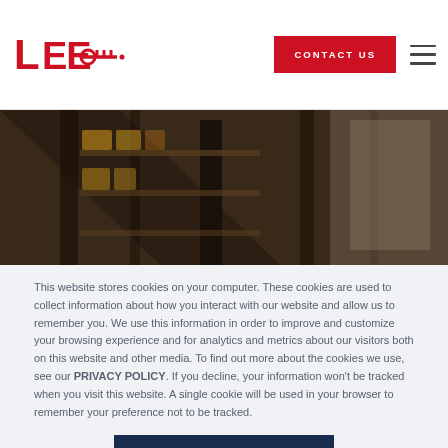[Figure (logo): Lee company logo — red stylized letters LEE with a key symbol]
[Figure (photo): Dark hero banner image showing industrial or warehouse shelving in low light]
This website stores cookies on your computer. These cookies are used to collect information about how you interact with our website and allow us to remember you. We use this information in order to improve and customize your browsing experience and for analytics and metrics about our visitors both on this website and other media. To find out more about the cookies we use, see our PRIVACY POLICY. If you decline, your information won't be tracked when you visit this website. A single cookie will be used in your browser to remember your preference not to be tracked.
ACCEPT COOKIES
Deny Cookies